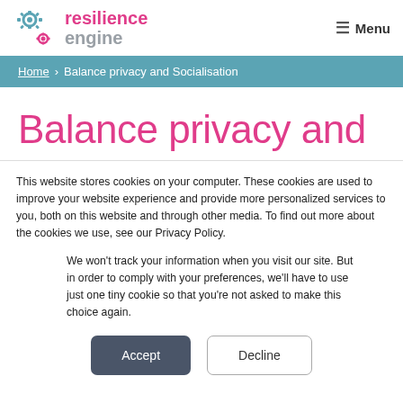resilience engine — Menu
Home › Balance privacy and Socialisation
Balance privacy and
This website stores cookies on your computer. These cookies are used to improve your website experience and provide more personalized services to you, both on this website and through other media. To find out more about the cookies we use, see our Privacy Policy.
We won't track your information when you visit our site. But in order to comply with your preferences, we'll have to use just one tiny cookie so that you're not asked to make this choice again.